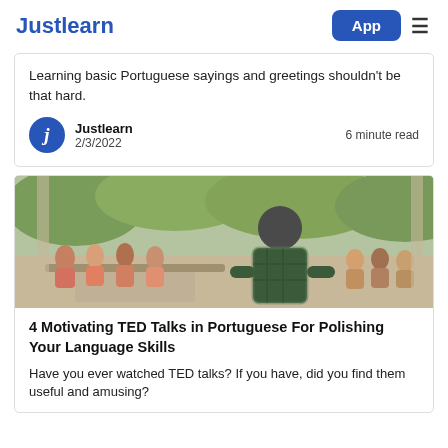Justlearn | App
Learning basic Portuguese sayings and greetings shouldn't be that hard.
Justlearn
2/3/2022
6 minute read
[Figure (photo): A person seen from behind speaking to a group of people seated at outdoor tables.]
4 Motivating TED Talks in Portuguese For Polishing Your Language Skills
Have you ever watched TED talks? If you have, did you find them useful and amusing?